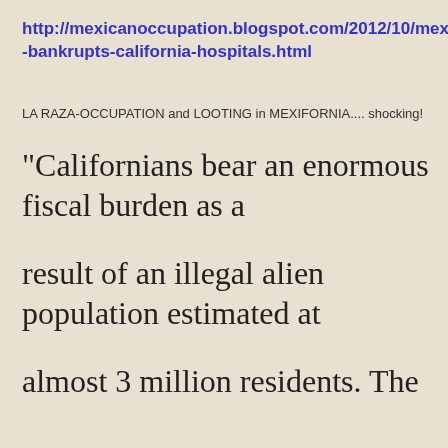http://mexicanoccupation.blogspot.com/2012/10/mexico-bankrupts-california-hospitals.html
LA RAZA-OCCUPATION and LOOTING in MEXIFORNIA.... shocking!
“Californians bear an enormous fiscal burden as a result of an illegal alien population estimated at almost 3 million residents. The